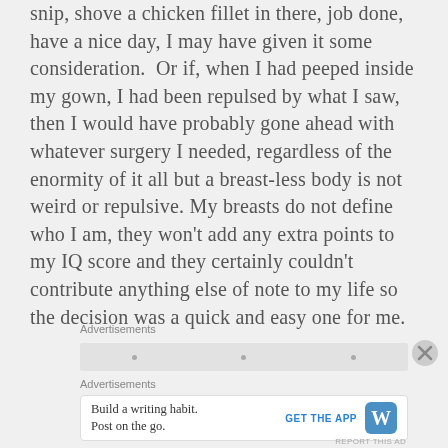snip, shove a chicken fillet in there, job done, have a nice day, I may have given it some consideration.  Or if, when I had peeped inside my gown, I had been repulsed by what I saw, then I would have probably gone ahead with whatever surgery I needed, regardless of the enormity of it all but a breast-less body is not weird or repulsive. My breasts do not define who I am, they won't add any extra points to my IQ score and they certainly couldn't contribute anything else of note to my life so the decision was a quick and easy one for me.
Advertisements
Advertisements
[Figure (screenshot): WordPress mobile app advertisement: 'Build a writing habit. Post on the go.' with GET THE APP button and WordPress logo]